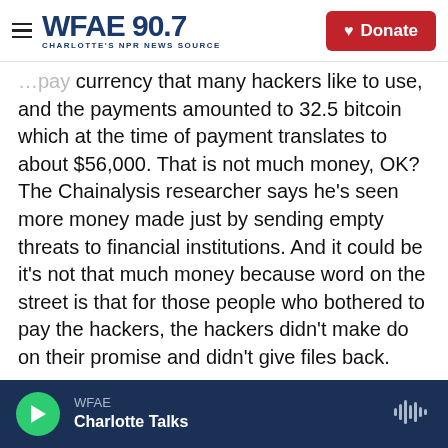WFAE 90.7 — Charlotte's NPR News Source | Donate
currency that many hackers like to use, and the payments amounted to 32.5 bitcoin which at the time of payment translates to about $56,000. That is not much money, OK? The Chainalysis researcher says he's seen more money made just by sending empty threats to financial institutions. And it could be it's not that much money because word on the street is that for those people who bothered to pay the hackers, the hackers didn't make do on their promise and didn't give files back.
SHAPIRO: Oh, wow. Well, any more information about who these hackers might be?
WFAE — Charlotte Talks